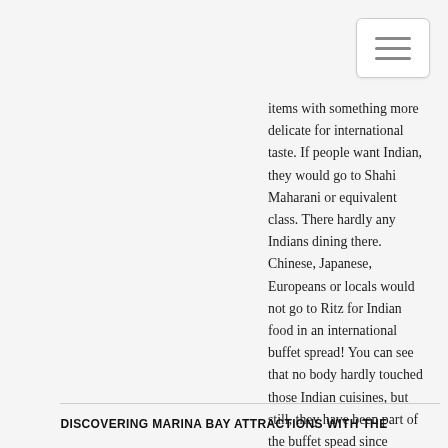items with something more delicate for international taste. If people want Indian, they would go to Shahi Maharani or equivalent class. There hardly any Indians dining there. Chinese, Japanese, Europeans or locals would not go to Ritz for Indian food in an international buffet spread! You can see that no body hardly touched those Indian cuisines, but still, they have been part of the buffet spead since donkey years. Who's job is it in Ritz to study buffet mix vs buffet dinners' profile and expectations? Diana
DISCOVERING MARINA BAY ATTRACTIONS WITH THE